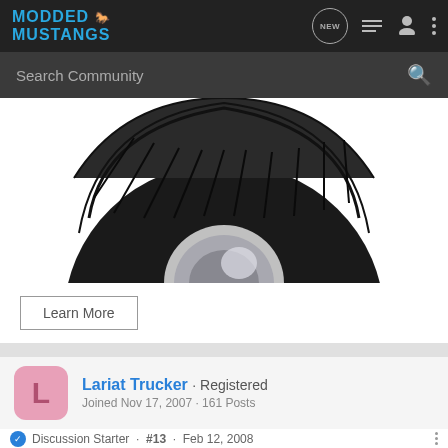MODDED MUSTANGS
[Figure (screenshot): Screenshot of Modded Mustangs forum website header with navigation icons (NEW, list, user, menu) and search bar]
[Figure (photo): Close-up photo of a black tire/wheel from above on white background]
Learn More
Lariat Trucker · Registered
Joined Nov 17, 2007 · 161 Posts
Discussion Starter · #13 · Feb 12, 2008
Oh yeah
[Figure (photo): Optima Batteries advertisement banner with blue background]